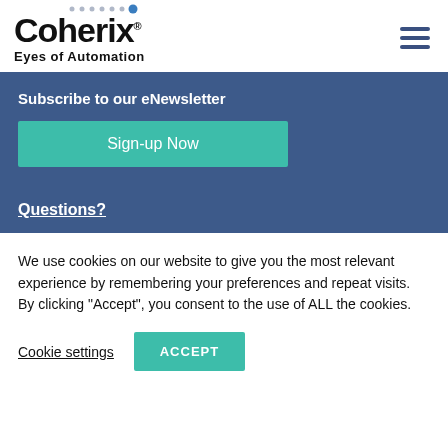[Figure (logo): Coherix logo with dots motif and tagline 'Eyes of Automation']
Subscribe to our eNewsletter
Sign-up Now
Questions?
We use cookies on our website to give you the most relevant experience by remembering your preferences and repeat visits. By clicking “Accept”, you consent to the use of ALL the cookies.
Cookie settings
ACCEPT